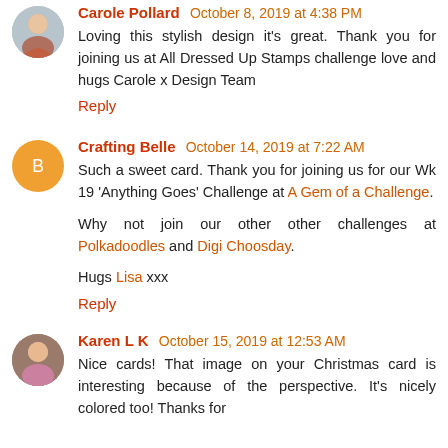Carole Pollard October 8, 2019 at 4:38 PM
Loving this stylish design it's great. Thank you for joining us at All Dressed Up Stamps challenge love and hugs Carole x Design Team
Reply
Crafting Belle October 14, 2019 at 7:22 AM
Such a sweet card. Thank you for joining us for our Wk 19 'Anything Goes' Challenge at A Gem of a Challenge.
Why not join our other other challenges at Polkadoodles and Digi Choosday.
Hugs Lisa xxx
Reply
Karen L K October 15, 2019 at 12:53 AM
Nice cards! That image on your Christmas card is interesting because of the perspective. It's nicely colored too! Thanks for